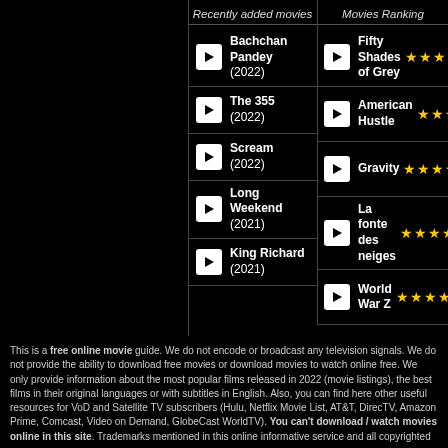Recently added movies
Bachchan Pandey (2022)
The 355 (2022)
Scream (2022)
Long Weekend (2021)
King Richard (2021)
Movies Ranking
Fifty Shades of Grey ★★★★★
American Hustle ★★★★★
Gravity ★★★★★
La fonte des neiges ★★★★★
World War Z ★★★★★
This is a free online movie guide. We do not encode or broadcast any television signals. We do not provide the ability to download free movies or download movies to watch online free. We only provide information about the most popular films released in 2022 (movie listings), the best films in their original languages or with subtitles in English. Also, you can find here other useful resources for VoD and Satellite TV subscribers (Hulu, Netflix Movie List, AT&T, DirecTV, Amazon Prime, Comcast, Video on Demand, GlobeCast WorldTV). You can't download / watch movies online in this site. Trademarks mentioned in this online informative service and all copyrighted